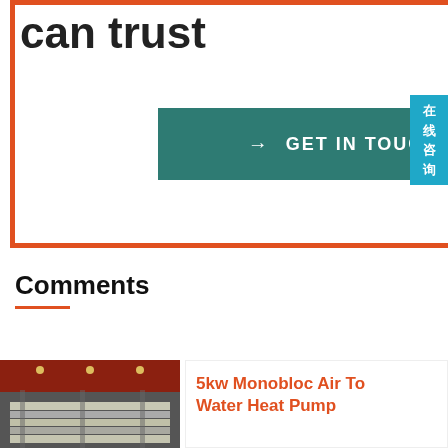can trust
GET IN TOUCH
24/7  Onlin
[Figure (photo): Customer service representative woman wearing headset, smiling, with 'PROVIDE SUPPORT - Empowering Customer Service' branding and 'online live' button]
在线咨询
Comments
[Figure (photo): Industrial facility with stacked metal sheets/panels in a warehouse]
5kw Monobloc Air To Water Heat Pump Manufacturer Bas OEM